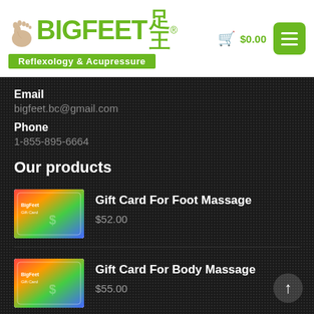[Figure (logo): BigFeet 足王 Reflexology & Acupressure logo with foot icon, green text, and green banner]
Email
bigfeet.bc@gmail.com
Phone
1-855-895-6664
Our products
[Figure (photo): Gift card product thumbnail with colorful design]
Gift Card For Foot Massage
$52.00
[Figure (photo): Gift card product thumbnail with colorful design]
Gift Card For Body Massage
$55.00